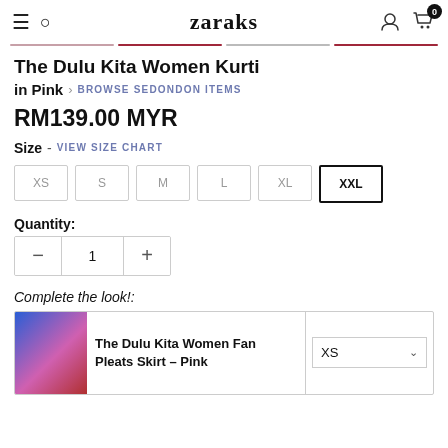zaraks — navigation header with hamburger menu, search, user icon, cart (0)
The Dulu Kita Women Kurti
in Pink › BROWSE SEDONDON ITEMS
RM139.00 MYR
Size - VIEW SIZE CHART
XS
S
M
L
XL
XXL (selected)
Quantity:
Quantity control: minus, 1, plus
Complete the look!:
The Dulu Kita Women Fan Pleats Skirt – Pink